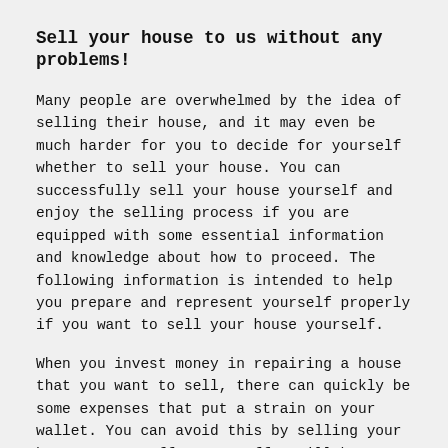Sell your house to us without any problems!
Many people are overwhelmed by the idea of selling their house, and it may even be much harder for you to decide for yourself whether to sell your house. You can successfully sell your house yourself and enjoy the selling process if you are equipped with some essential information and knowledge about how to proceed. The following information is intended to help you prepare and represent yourself properly if you want to sell your house yourself.
When you invest money in repairing a house that you want to sell, there can quickly be some expenses that put a strain on your wallet. You can avoid this by selling your house to BustOffer. BustOffer will buy your house, even if it is ugly or old. We buy houses in any condition at a fair price.